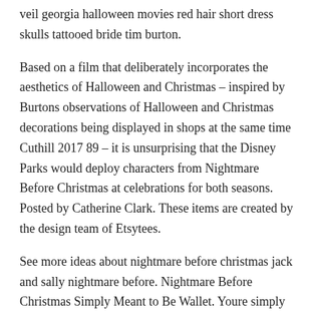veil georgia halloween movies red hair short dress skulls tattooed bride tim burton.
Based on a film that deliberately incorporates the aesthetics of Halloween and Christmas – inspired by Burtons observations of Halloween and Christmas decorations being displayed in shops at the same time Cuthill 2017 89 – it is unsurprising that the Disney Parks would deploy characters from Nightmare Before Christmas at celebrations for both seasons. Posted by Catherine Clark. These items are created by the design team of Etsytees.
See more ideas about nightmare before christmas jack and sally nightmare before. Nightmare Before Christmas Simply Meant to Be Wallet. Youre simply meant to have this officially licensed The Nightmare Before Christmas sign in your home.
0 Comments 1 shares. The 10 Most Important The Nightmare Before Christmas Quotes According to You. It is made of faux leather and features a top flap closure matching themed lining foil applique debossed and printed details.